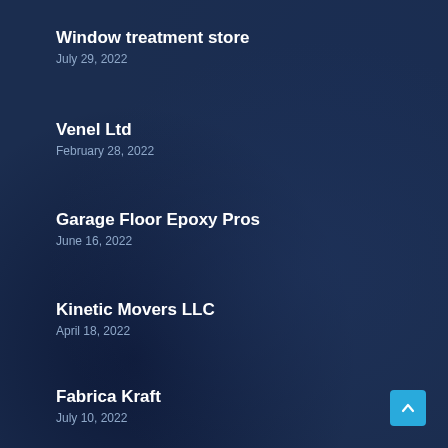Window treatment store
July 29, 2022
Venel Ltd
February 28, 2022
Garage Floor Epoxy Pros
June 16, 2022
Kinetic Movers LLC
April 18, 2022
Fabrica Kraft
July 10, 2022